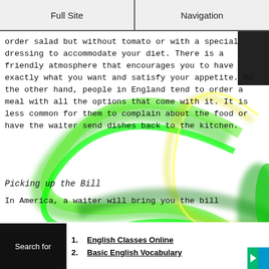Full Site | Navigation
order salad but without tomato or with a special dressing to accommodate your diet. There is a friendly atmosphere that encourages you to have exactly what you want and satisfy your appetite. On the other hand, people in England tend to order a meal with all the options that come with it. It is less common for them to complain about the food or have the waiter send dishes back to the kitchen.
Picking up the Bill
In America, a waiter will bring you the bill
1. English Classes Online
2. Basic English Vocabulary